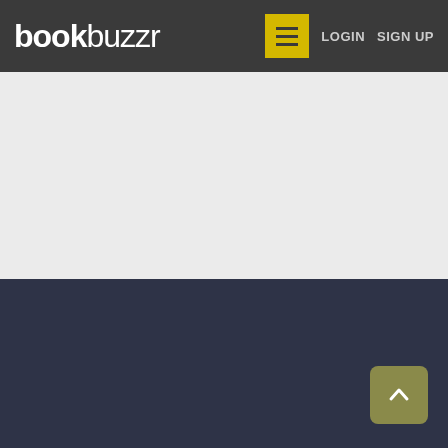bookbuzzr — LOGIN  SIGN UP
[Figure (screenshot): Light gray empty content area below the header navigation bar]
[Figure (screenshot): Dark navy footer area with a scroll-to-top button (upward chevron arrow) in the bottom-right corner]